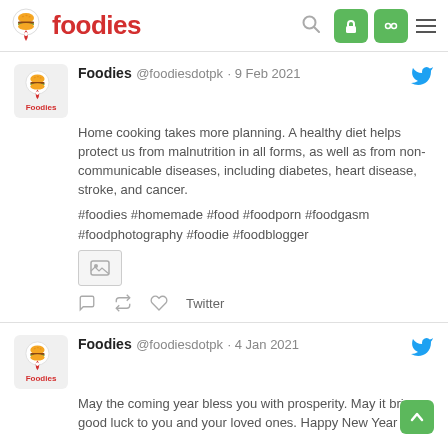Foodies
Foodies @foodiesdotpk · 9 Feb 2021
Home cooking takes more planning. A healthy diet helps protect us from malnutrition in all forms, as well as from non-communicable diseases, including diabetes, heart disease, stroke, and cancer.

#foodies #homemade #food #foodporn #foodgasm #foodphotography #foodie #foodblogger
Foodies @foodiesdotpk · 4 Jan 2021
May the coming year bless you with prosperity. May it bring good luck to you and your loved ones. Happy New Year 2021